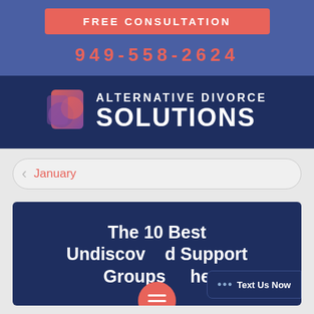FREE CONSULTATION
949-558-2624
[Figure (logo): Alternative Divorce Solutions logo with abstract circular icon in red/purple tones and white text on dark navy background]
January
The 10 Best Undiscovered Support Groups the